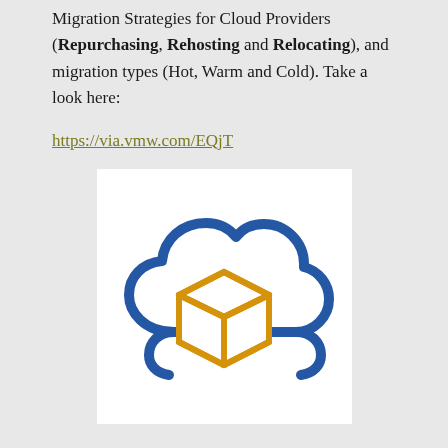Migration Strategies for Cloud Providers (Repurchasing, Rehosting and Relocating), and migration types (Hot, Warm and Cold). Take a look here:
https://via.vmw.com/EQjT
[Figure (illustration): Cloud migration icon: a blue outlined cloud with a golden/yellow 3D box/cube inside it]
Today I would like to focus on migration phases, at